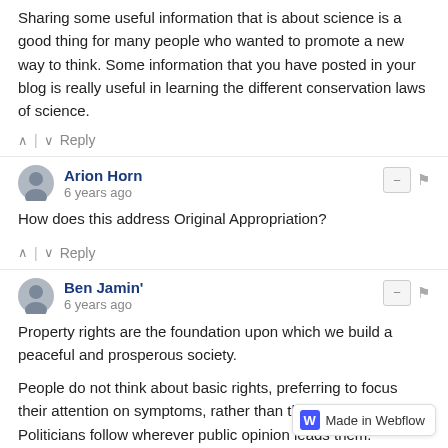Sharing some useful information that is about science is a good thing for many people who wanted to promote a new way to think. Some information that you have posted in your blog is really useful in learning the different conservation laws of science.
^ | v  Reply
Arion Horn
6 years ago
How does this address Original Appropriation?
^ | v  Reply
Ben Jamin'
6 years ago
Property rights are the foundation upon which we build a peaceful and prosperous society.
People do not think about basic rights, preferring to focus their attention on symptoms, rather than their cause. Politicians follow wherever public opinion leads them.
Nothing will meaningfully change until there is a political